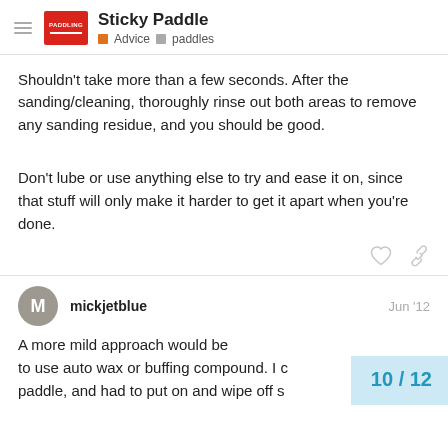Sticky Paddle — Advice · paddles
Shouldn't take more than a few seconds. After the sanding/cleaning, thoroughly rinse out both areas to remove any sanding residue, and you should be good.
Don't lube or use anything else to try and ease it on, since that stuff will only make it harder to get it apart when you're done.
mickjetblue  Jun '12
A more mild approach would be to use auto wax or buffing compound. I c paddle, and had to put on and wipe off s